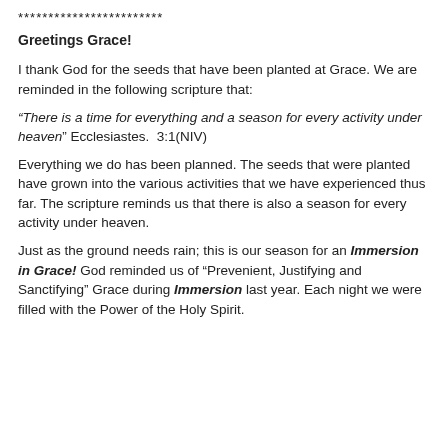************************
Greetings Grace!
I thank God for the seeds that have been planted at Grace. We are reminded in the following scripture that:
“There is a time for everything and a season for every activity under heaven” Ecclesiastes.  3:1(NIV)
Everything we do has been planned. The seeds that were planted have grown into the various activities that we have experienced thus far. The scripture reminds us that there is also a season for every activity under heaven.
Just as the ground needs rain; this is our season for an Immersion in Grace! God reminded us of “Prevenient, Justifying and Sanctifying” Grace during Immersion last year. Each night we were filled with the Power of the Holy Spirit.